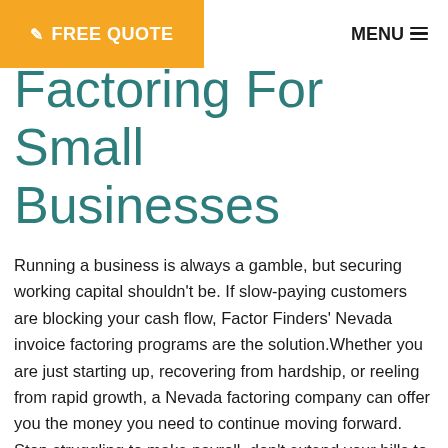FREE QUOTE  MENU
Factoring For Small Businesses
Running a business is always a gamble, but securing working capital shouldn't be. If slow-paying customers are blocking your cash flow, Factor Finders' Nevada invoice factoring programs are the solution.Whether you are just starting up, recovering from hardship, or reeling from rapid growth, a Nevada factoring company can offer you the money you need to continue moving forward. Stop struggling to make payroll, don't extend your bills to the last minute, and embrace new customers without worrying how to cover new costs – choose invoice factoring